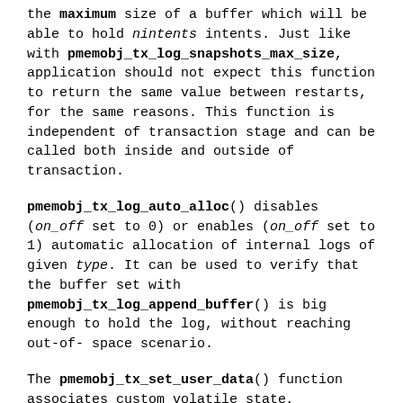the maximum size of a buffer which will be able to hold nintents intents. Just like with pmemobj_tx_log_snapshots_max_size, application should not expect this function to return the same value between restarts, for the same reasons. This function is independent of transaction stage and can be called both inside and outside of transaction.
pmemobj_tx_log_auto_alloc() disables (on_off set to 0) or enables (on_off set to 1) automatic allocation of internal logs of given type. It can be used to verify that the buffer set with pmemobj_tx_log_append_buffer() is big enough to hold the log, without reaching out-of-space scenario.
The pmemobj_tx_set_user_data() function associates custom volatile state, represented by pointer data, with the current transaction. This state can later be